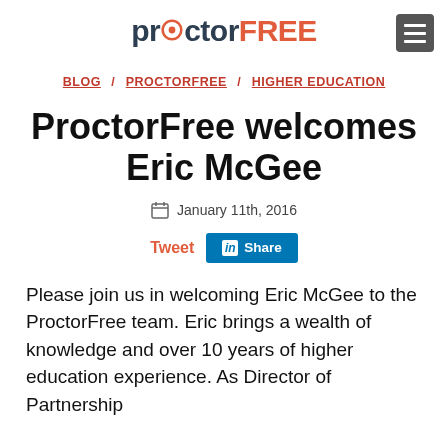proctorFREE
BLOG  PROCTORFREE  HIGHER EDUCATION
ProctorFree welcomes Eric McGee
January 11th, 2016
Tweet  Share
Please join us in welcoming Eric McGee to the ProctorFree team. Eric brings a wealth of knowledge and over 10 years of higher education experience. As Director of Partnership